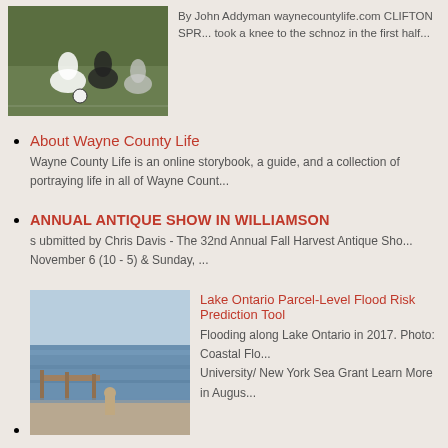[Figure (photo): Soccer players on a field, action shot]
By John Addyman waynecountylife.com CLIFTON SPR... took a knee to the schnoz in the first half...
About Wayne County Life
Wayne County Life is an online storybook, a guide, and a collection of portraying life in all of Wayne Count...
ANNUAL ANTIQUE SHOW IN WILLIAMSON
s ubmitted by Chris Davis - The 32nd Annual Fall Harvest Antique Sho... November 6 (10 - 5) & Sunday, ...
[Figure (photo): Flooding along Lake Ontario in 2017]
Lake Ontario Parcel-Level Flood Risk Prediction Tool
Flooding along Lake Ontario in 2017. Photo: Coastal Flo... University/ New York Sea Grant Learn More in Augus...